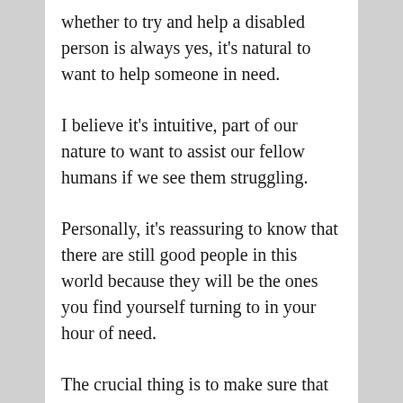whether to try and help a disabled person is always yes, it's natural to want to help someone in need.
I believe it's intuitive, part of our nature to want to assist our fellow humans if we see them struggling.
Personally, it's reassuring to know that there are still good people in this world because they will be the ones you find yourself turning to in your hour of need.
The crucial thing is to make sure that you are respecting the wishes of the disabled person and not overstepping their boundaries. Sadly,